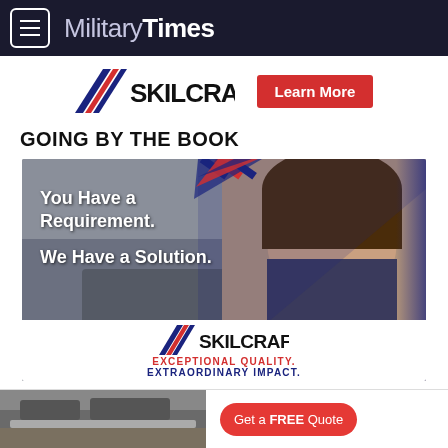Military Times
[Figure (logo): SKILCRAFT logo with diagonal stripe and Learn More button]
GOING BY THE BOOK
[Figure (photo): Woman smiling on phone with text overlay: You Have a Requirement. We Have a Solution. SKILCRAFT logo below with EXCEPTIONAL QUALITY. EXTRAORDINARY IMPACT.]
[Figure (photo): Footer ad: kitchen image on left, Get a FREE Quote button on right]